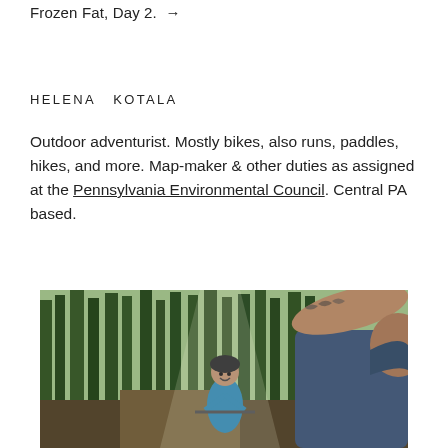Frozen Fat, Day 2. →
HELENA KOTALA
Outdoor adventurist. Mostly bikes, also runs, paddles, hikes, and more. Map-maker & other duties as assigned at the Pennsylvania Environmental Council. Central PA based.
[Figure (photo): Two cyclists riding on a forest trail. A person in the foreground on the right wearing a blue shirt leans over the handlebars. In the background, a smiling woman wearing a blue tank top and helmet rides on a wooded path surrounded by tall green trees.]